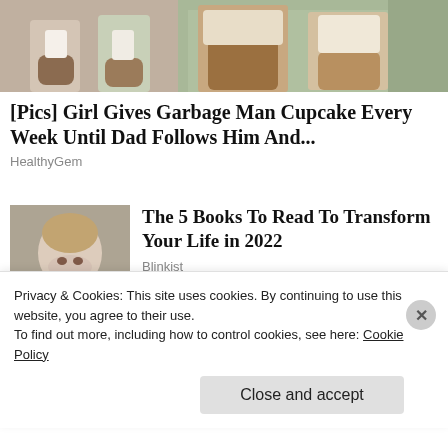[Figure (photo): Two-panel photo strip: left panel shows child's feet/legs with brown boots on sidewalk; right panel shows adult crouching with child on sidewalk.]
[Pics] Girl Gives Garbage Man Cupcake Every Week Until Dad Follows Him And...
HealthyGem
[Figure (photo): Thumbnail portrait of a blonde woman with red lips in white top, gray background.]
The 5 Books To Read To Transform Your Life in 2022
Blinkist
Privacy & Cookies: This site uses cookies. By continuing to use this website, you agree to their use.
To find out more, including how to control cookies, see here: Cookie Policy
Close and accept